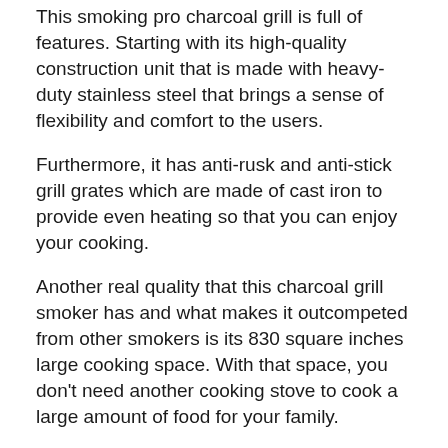This smoking pro charcoal grill is full of features. Starting with its high-quality construction unit that is made with heavy-duty stainless steel that brings a sense of flexibility and comfort to the users.
Furthermore, it has anti-rusk and anti-stick grill grates which are made of cast iron to provide even heating so that you can enjoy your cooking.
Another real quality that this charcoal grill smoker has and what makes it outcompeted from other smokers is its 830 square inches large cooking space. With that space, you don't need another cooking stove to cook a large amount of food for your family.